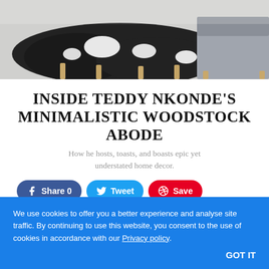[Figure (photo): A cowhide rug in black and white on the floor, with wooden legs of furniture visible and a grey sofa partially in frame on the right.]
INSIDE TEDDY NKONDE'S MINIMALISTIC WOODSTOCK ABODE
How he hosts, toasts, and boasts epic yet understated home decor.
Share 0  Tweet  Save
0 Comments
Sort by Newest
We use cookies to offer you a better experience and analyse site traffic. By continuing to use this website, you consent to the use of cookies in accordance with our Privacy policy.
GOT IT